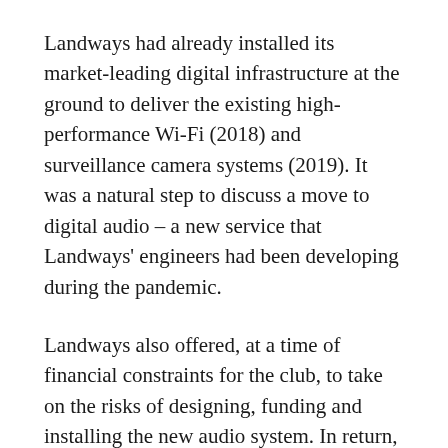Landways had already installed its market-leading digital infrastructure at the ground to deliver the existing high-performance Wi-Fi (2018) and surveillance camera systems (2019). It was a natural step to discuss a move to digital audio – a new service that Landways' engineers had been developing during the pandemic.
Landways also offered, at a time of financial constraints for the club, to take on the risks of designing, funding and installing the new audio system. In return, a service contract has been signed with specified performance levels guaranteed for the whole term. The club felt that Landways' “Infrastructure as a Service” model, with continued system assurance and built-in hardware upgrades, made them the right partner to deliver their new audio